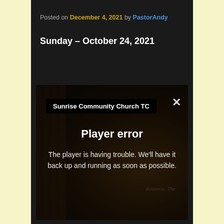Posted on December 4, 2021 by PastorAndy
Sunday – October 24, 2021
[Figure (screenshot): Embedded video player showing 'Sunrise Community Church TC' with a player error message overlay: 'Player error – The player is having trouble. We'll have it back up and running as soon as possible.' A dark overlay covers a church interior scene with a projected screen visible in the background. An X close button is in the top right of the player.]